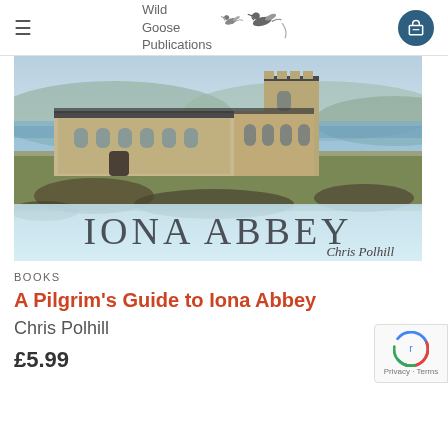Wild Goose Publications
[Figure (photo): Book cover of 'Iona Abbey' by Chris Polhill showing an aerial or elevated photograph of Iona Abbey with stone buildings, water and hills in the background, with the title 'IONA ABBEY' in large serif letters and 'Chris Polhill' in italic below]
BOOKS
A Pilgrim's Guide to Iona Abbey
Chris Polhill
£5.99